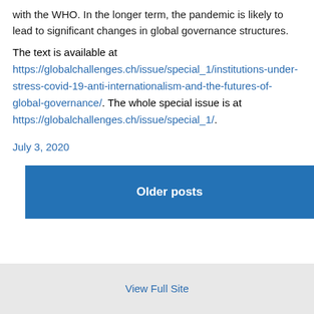with the WHO. In the longer term, the pandemic is likely to lead to significant changes in global governance structures.
The text is available at https://globalchallenges.ch/issue/special_1/institutions-under-stress-covid-19-anti-internationalism-and-the-futures-of-global-governance/. The whole special issue is at https://globalchallenges.ch/issue/special_1/.
July 3, 2020
Older posts
View Full Site